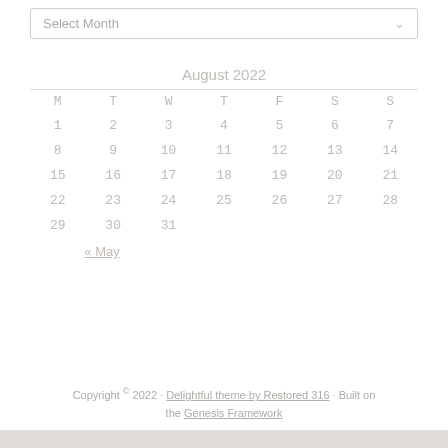Select Month
| M | T | W | T | F | S | S |
| --- | --- | --- | --- | --- | --- | --- |
| 1 | 2 | 3 | 4 | 5 | 6 | 7 |
| 8 | 9 | 10 | 11 | 12 | 13 | 14 |
| 15 | 16 | 17 | 18 | 19 | 20 | 21 |
| 22 | 23 | 24 | 25 | 26 | 27 | 28 |
| 29 | 30 | 31 |  |  |  |  |
« May
Copyright © 2022 · Delightful theme by Restored 316 · Built on the Genesis Framework